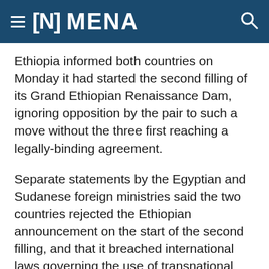[N] MENA
Ethiopia informed both countries on Monday it had started the second filling of its Grand Ethiopian Renaissance Dam, ignoring opposition by the pair to such a move without the three first reaching a legally-binding agreement.
Separate statements by the Egyptian and Sudanese foreign ministries said the two countries rejected the Ethiopian announcement on the start of the second filling, and that it breached international laws governing the use of transnational rivers and a 2015 declaration of principles by the three